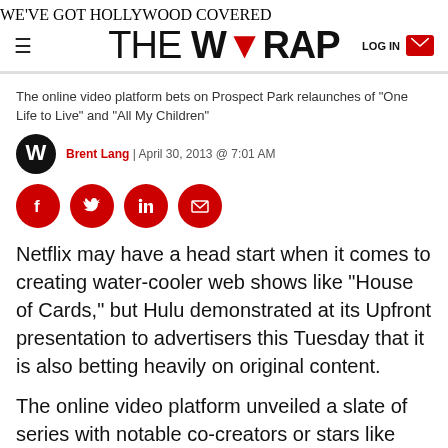WE'VE GOT HOLLYWOOD COVERED — THE WRAP
The online video platform bets on Prospect Park relaunches of "One Life to Live" and "All My Children"
Brent Lang | April 30, 2013 @ 7:01 AM
[Figure (other): Social share buttons: Facebook, Twitter, LinkedIn, Email]
Netflix may have a head start when it comes to creating water-cooler web shows like "House of Cards," but Hulu demonstrated at its Upfront presentation to advertisers this Tuesday that it is also betting heavily on original content.
The online video platform unveiled a slate of series with notable co-creators or stars like Seth Meyers, Emmy-winning filmmaker Josh Greenbaum and Tony-